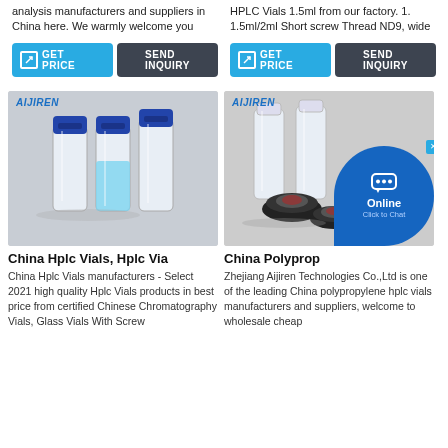analysis manufacturers and suppliers in China here. We warmly welcome you
HPLC Vials 1.5ml from our factory. 1. 1.5ml/2ml Short screw Thread ND9, wide
[Figure (screenshot): GET PRICE button (blue) and SEND INQUIRY button (dark) - left column]
[Figure (screenshot): GET PRICE button (blue) and SEND INQUIRY button (dark) - right column]
[Figure (photo): Photo of HPLC vials with blue screw caps by Aijiren brand]
[Figure (photo): Photo of polypropylene HPLC vials with black caps by Aijiren brand, with online chat overlay]
China Hplc Vials, Hplc Via
China Hplc Vials manufacturers - Select 2021 high quality Hplc Vials products in best price from certified Chinese Chromatography Vials, Glass Vials With Screw
China Polyprop
Zhejiang Aijiren Technologies Co.,Ltd is one of the leading China polypropylene hplc vials manufacturers and suppliers, welcome to wholesale cheap